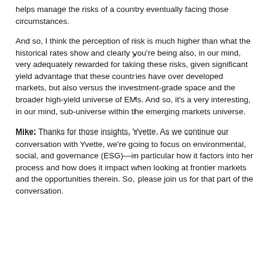helps manage the risks of a country eventually facing those circumstances.
And so, I think the perception of risk is much higher than what the historical rates show and clearly you're being also, in our mind, very adequately rewarded for taking these risks, given significant yield advantage that these countries have over developed markets, but also versus the investment-grade space and the broader high-yield universe of EMs. And so, it's a very interesting, in our mind, sub-universe within the emerging markets universe.
Mike: Thanks for those insights, Yvette. As we continue our conversation with Yvette, we're going to focus on environmental, social, and governance (ESG)—in particular how it factors into her process and how does it impact when looking at frontier markets and the opportunities therein. So, please join us for that part of the conversation.